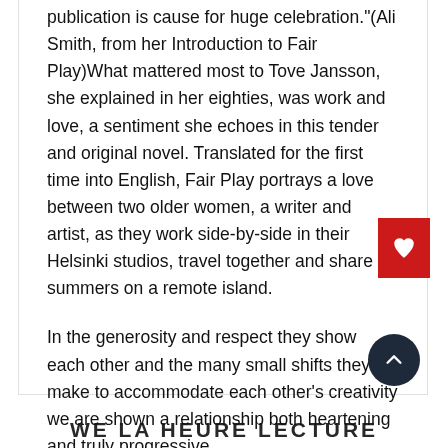publication is cause for huge celebration."(Ali Smith, from her Introduction to Fair Play)What mattered most to Tove Jansson, she explained in her eighties, was work and love, a sentiment she echoes in this tender and original novel. Translated for the first time into English, Fair Play portrays a love between two older women, a writer and artist, as they work side-by-side in their Helsinki studios, travel together and share summers on a remote island.
In the generosity and respect they show each other and the many small shifts they make to accommodate each other's creativity we are shown a relationship both heartening and truly progressive.
WE LA HEURE LECTURE